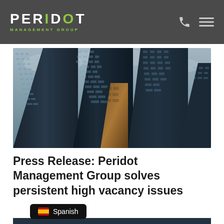PERIDOT MANAGEMENT GROUP
[Figure (photo): Upward-looking view of tall glass skyscrapers against a cloudy sky, with dark steel and glass facades and a warm-toned building visible in the center]
Press Release: Peridot Management Group solves persistent high vacancy issues
Spanish